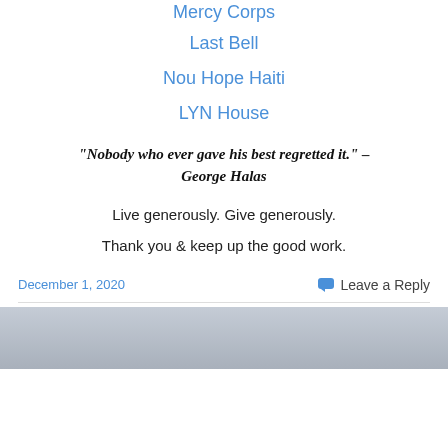Mercy Corps
Last Bell
Nou Hope Haiti
LYN House
“Nobody who ever gave his best regretted it.” – George Halas
Live generously. Give generously.
Thank you & keep up the good work.
December 1, 2020   Leave a Reply
[Figure (photo): A photo with a grey/blue cloudy sky background visible at the bottom of the page]